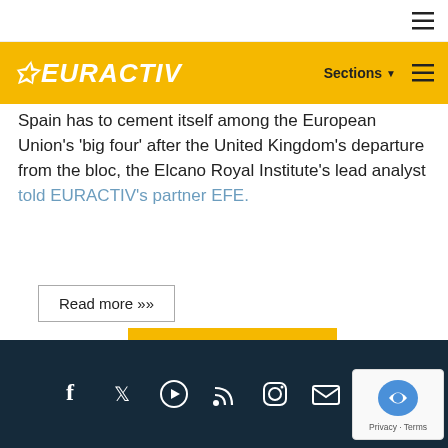EURACTIV (navigation bar with hamburger menu and Sections dropdown)
Spain has to cement itself among the European Union's 'big four' after the United Kingdom's departure from the bloc, the Elcano Royal Institute's lead analyst told EURACTIV's partner EFE.
Read more »»
RSS - Donald Trump
Social media icons: Facebook, Twitter, YouTube, RSS, Instagram, Email, Reddit